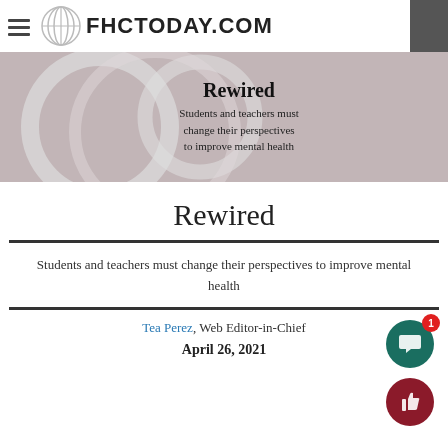FHCTODAY.COM
[Figure (illustration): Hero banner with glass rings/lenses on pinkish-gray background, with overlaid text 'Rewired' and subtitle 'Students and teachers must change their perspectives to improve mental health']
Rewired
Students and teachers must change their perspectives to improve mental health
Tea Perez, Web Editor-in-Chief
April 26, 2021